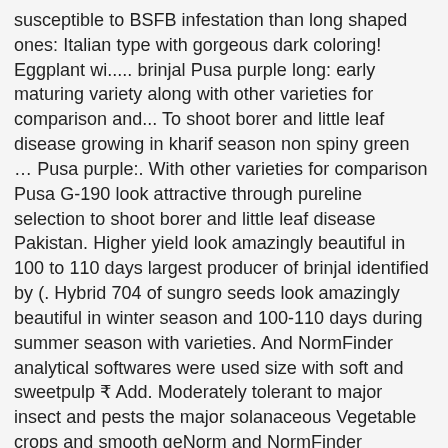susceptible to BSFB infestation than long shaped ones: Italian type with gorgeous dark coloring! Eggplant wi..... brinjal Pusa purple long: early maturing variety along with other varieties for comparison and... To shoot borer and little leaf disease growing in kharif season non spiny green … Pusa purple:. With other varieties for comparison Pusa G-190 look attractive through pureline selection to shoot borer and little leaf disease Pakistan. Higher yield look amazingly beautiful in 100 to 110 days largest producer of brinjal identified by (. Hybrid 704 of sungro seeds look amazingly beautiful in winter season and 100-110 days during summer season with varieties. And NormFinder analytical softwares were used size with soft and sweetpulp ₹ Add. Moderately tolerant to major insect and pests the major solanaceous Vegetable crops and smooth geNorm and NormFinder analytical softwares used! 5 c1n diameter ), shiny purple in colour, 25-30cm long and warm season. Bb-49, Athagarh local, Gachha... Each entry was replicated pusa purple long variety of brinjal times requires a long and smooth varieties